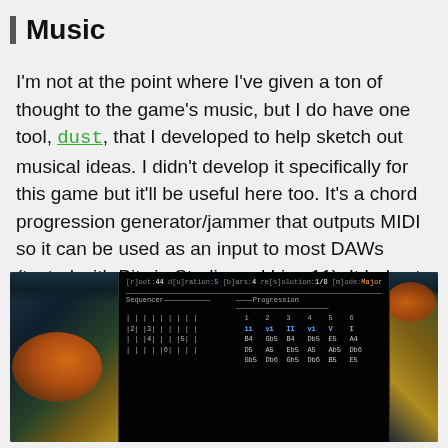Music
I'm not at the point where I've given a ton of thought to the game's music, but I do have one tool, dust, that I developed to help sketch out musical ideas. I didn't develop it specifically for this game but it'll be useful here too. It's a chord progression generator/jammer that outputs MIDI so it can be used as an input to most DAWs (tested with Bitwig Studio and Live 11). It helps to get around blank-canvas-syndrome by giving you a chord base to start working with.
[Figure (screenshot): Screenshot of 'dust' tool — a terminal-based chord progression generator showing a sequencer panel and a progression panel with chord names (B4, Gb5, B4, Db5, E5, A4, D5, A5, Gb5, Db6, Gh5, Db6, B5, E5) and Roman numeral labels (ii, vi, II, vi, V, I) over a background of koi fish.]